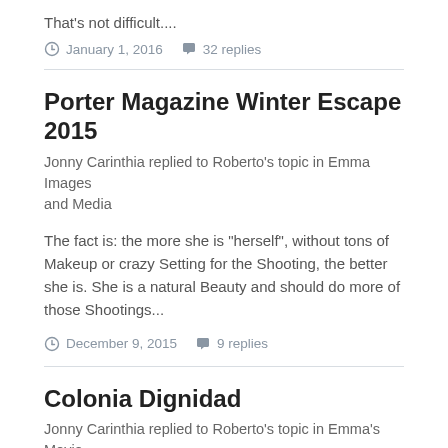That's not difficult....
January 1, 2016   32 replies
Porter Magazine Winter Escape 2015
Jonny Carinthia replied to Roberto's topic in Emma Images and Media
The fact is: the more she is "herself", without tons of Makeup or crazy Setting for the Shooting, the better she is. She is a natural Beauty and should do more of those Shootings...
December 9, 2015   9 replies
Colonia Dignidad
Jonny Carinthia replied to Roberto's topic in Emma's Movie Roles
Yup. Emma a victim of Nazis is so realistic like Jeanette Biedermann playing Hermione....